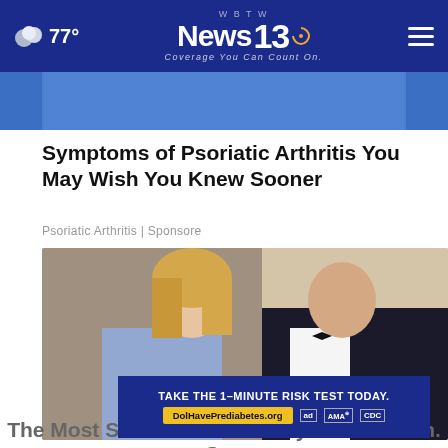77° | WBTW News 13 - Coverage You Can Count On.
[Figure (photo): Partial blue image strip at top of article]
Symptoms of Psoriatic Arthritis You May Wish You Knew Sooner
Psoriatic Arthritis | Sponsore
[Figure (photo): Couple dressed in formal attire, woman in blue dress with blonde hair, man in black tuxedo, smiling together]
TAKE THE 1-MINUTE RISK TEST TODAY. DolHavePrediabetes.org
The Most Successful Attorneys in Ashburn. See